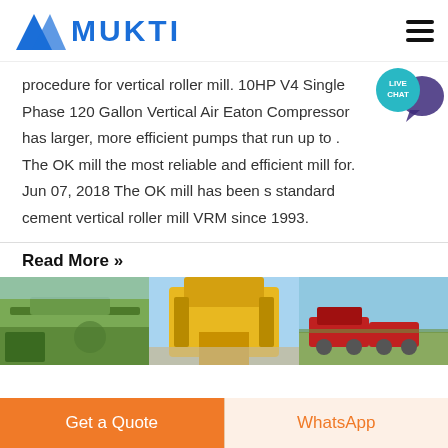MUKTI
procedure for vertical roller mill. 10HP V4 Single Phase 120 Gallon Vertical Air Eaton Compressor has larger, more efficient pumps that run up to . The OK mill the most reliable and efficient mill for. Jun 07, 2018 The OK mill has been s standard cement vertical roller mill VRM since 1993.
Read More »
[Figure (photo): Three side-by-side photos of industrial mining/crushing equipment and open-pit quarry sites]
Get a Quote
WhatsApp